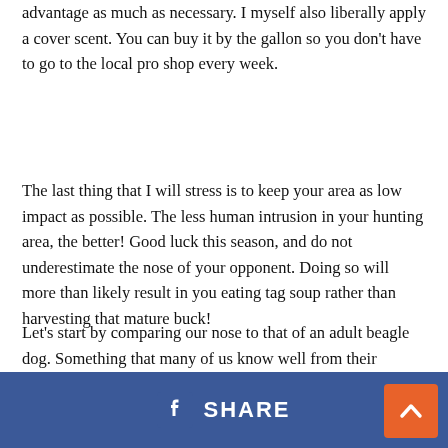advantage as much as necessary. I myself also liberally apply a cover scent. You can buy it by the gallon so you don't have to go to the local pro shop every week.
The last thing that I will stress is to keep your area as low impact as possible. The less human intrusion in your hunting area, the better! Good luck this season, and do not underestimate the nose of your opponent. Doing so will more than likely result in you eating tag soup rather than harvesting that mature buck!
Let's start by comparing our nose to that of an adult beagle dog. Something that many of us know well from their incredible sense of smell used to hunt the fuzzy woodland creatures that we call rabbits. The average dog has around 220 million olfactory receptors in its nose. Compared to human's meager 5 million in our nose, that's quite...
[Figure (other): Facebook Share button bar overlay at the bottom of the page, with a blue background, Facebook 'f' icon, and the text 'SHARE' in white. An orange scroll-to-top button with a white upward arrow is in the bottom-right corner.]